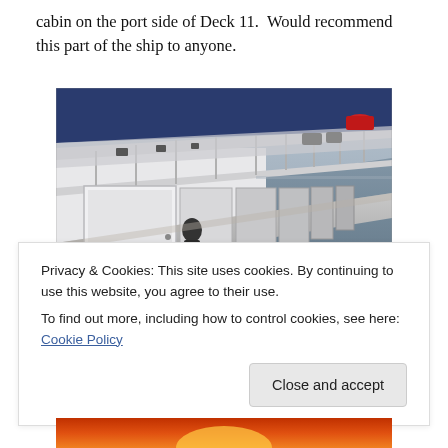cabin on the port side of Deck 11.  Would recommend this part of the ship to anyone.
[Figure (photo): View along the outside deck of a large cruise ship. The image shows the side of the ship with balcony cabins, railings, and the open sea in the background. The sky is overcast and hazy.]
Privacy & Cookies: This site uses cookies. By continuing to use this website, you agree to their use.
To find out more, including how to control cookies, see here: Cookie Policy
Close and accept
[Figure (photo): Partial view of a sunset or sunrise photo at the very bottom of the page.]